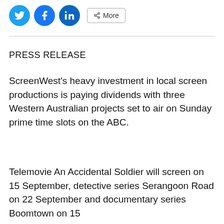[Figure (other): Social media share buttons: Twitter (blue bird icon), Facebook (blue f icon), LinkedIn (blue in icon), and a More button with share icon]
PRESS RELEASE
ScreenWest’s heavy investment in local screen productions is paying dividends with three Western Australian projects set to air on Sunday prime time slots on the ABC.
Telemovie An Accidental Soldier will screen on 15 September, detective series Serangoon Road on 22 September and documentary series Boomtown on 15